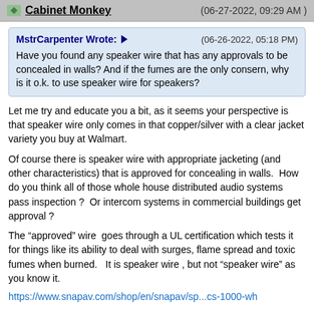Cabinet Monkey  (06-27-2022, 09:29 AM )
MstrCarpenter Wrote:  (06-26-2022, 05:18 PM)
Have you found any speaker wire that has any approvals to be concealed in walls? And if the fumes are the only consern, why is it o.k. to use speaker wire for speakers?
Let me try and educate you a bit, as it seems your perspective is that speaker wire only comes in that copper/silver with a clear jacket variety you buy at Walmart.
Of course there is speaker wire with appropriate jacketing (and other characteristics) that is approved for concealing in walls.  How do you think all of those whole house distributed audio systems pass inspection ?  Or intercom systems in commercial buildings get approval ?
The “approved” wire  goes through a UL certification which tests it for things like its ability to deal with surges, flame spread and toxic fumes when burned.   It is speaker wire , but not “speaker wire” as you know it.
https://www.snapav.com/shop/en/snapav/sp...cs-1000-wh